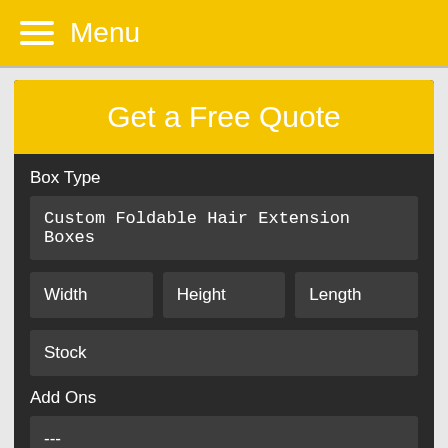Menu
Get a Free Quote
Box Type
Custom Foldable Hair Extension Boxes
Width
Height
Length
Stock
Add Ons
---
Color